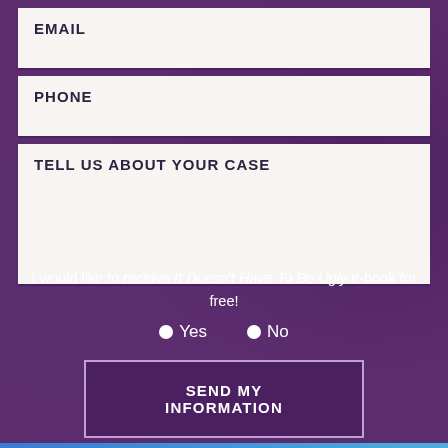EMAIL
PHONE
TELL US ABOUT YOUR CASE
I would like to receive It Doesn't Have To Be Ugly e-book for free!
• Yes
• No
SEND MY INFORMATION